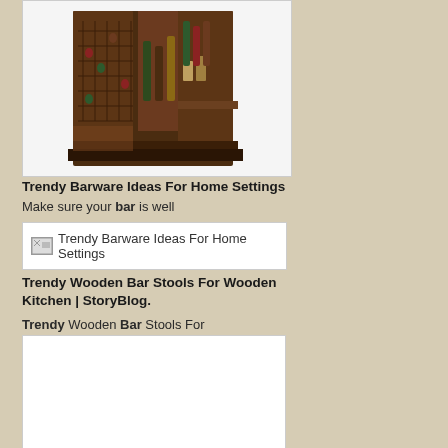[Figure (photo): Photo of a dark wood bar cabinet with wine rack compartments, open to show bottles and bar accessories]
Trendy Barware Ideas For Home Settings
Make sure your bar is well
[Figure (other): Broken image placeholder labeled: Trendy Barware Ideas For Home Settings]
Trendy Wooden Bar Stools For Wooden Kitchen | StoryBlog.
Trendy Wooden Bar Stools For
[Figure (photo): White/blank image placeholder for wooden bar stools content]